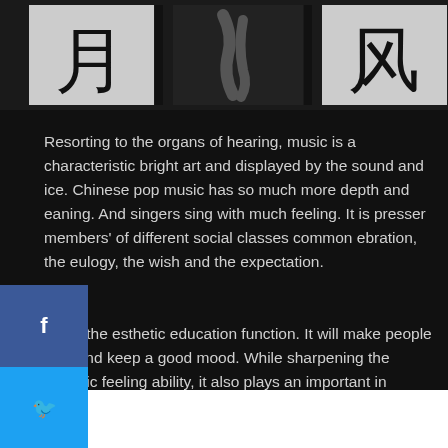[Figure (photo): Black and white photograph strip showing Chinese calligraphy characters — two light-background panels with Chinese characters (月 and 风/similar) flanking a dark center section with brush strokes.]
Resorting to the organs of hearing, music is a characteristic bright art and displayed by the sound and ice. Chinese pop music has so much more depth and eaning. And singers sing with much feeling. It is presser members' of different social classes common ebration, the eulogy, the wish and the expectation.
[Figure (infographic): Social media sharing sidebar with buttons: Facebook (blue, f), Twitter (light blue, bird), Google+ (red, G+), Pinterest (dark red, pin icon), LinkedIn (blue, in)]
It has the esthetic education function. It will make people lofty and keep a good mood. While sharpening the esthetic feeling ability, it also plays an important in